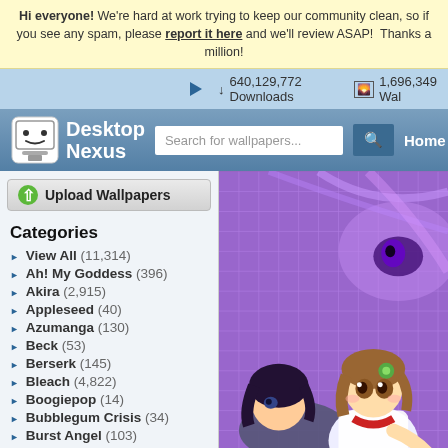Hi everyone! We're hard at work trying to keep our community clean, so if you see any spam, please report it here and we'll review ASAP! Thanks a million!
640,129,772 Downloads   1,696,349 Wallpapers
Desktop Nexus
Upload Wallpapers
Categories
View All (11,314)
Ah! My Goddess (396)
Akira (2,915)
Appleseed (40)
Azumanga (130)
Beck (53)
Berserk (145)
Bleach (4,822)
Boogiepop (14)
Bubblegum Crisis (34)
Burst Angel (103)
Card Captor Sakura (736)
Chobits (406)
Chrono Crusade (61)
[Figure (illustration): Anime-style illustration with purple background and grid pattern showing two anime characters, one with brown hair wearing white and red outfit]